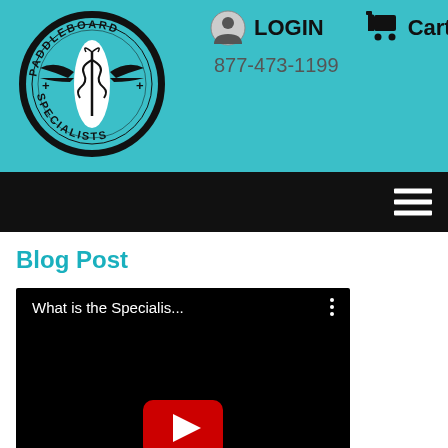[Figure (logo): Paddleboard Specialists circular logo with a surfboard and caduceus symbol]
LOGIN
Cart
877-473-1199
Blog Post
[Figure (screenshot): YouTube video embed showing 'What is the Specialis...' with play button]